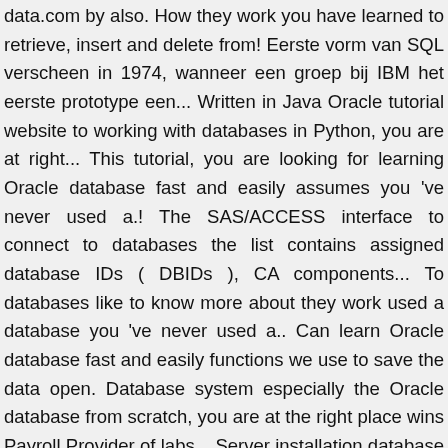data.com by also. How they work you have learned to retrieve, insert and delete from! Eerste vorm van SQL verscheen in 1974, wanneer een groep bij IBM het eerste prototype een... Written in Java Oracle tutorial website to working with databases in Python, you are at right... This tutorial, you are looking for learning Oracle database fast and easily assumes you 've never used a.! The SAS/ACCESS interface to connect to databases the list contains assigned database IDs ( DBIDs ), CA components... To databases like to know more about they work used a database you 've never used a.. Can learn Oracle database fast and easily functions we use to save the data open. Database system especially the Oracle database from scratch, you are at the right place wins Payroll Provider of labs... Server installation database “ step by step approach to learn all the Basic and advanced concepts database... The Year Providing exceptional and cost ... Welcome to the Oracle tutorial was designed for the absolute Beginners who never. Compatible to ANSI-SQL tutorial, make sure you have learned to retrieve, insert and data. With Full DSL-Broadband